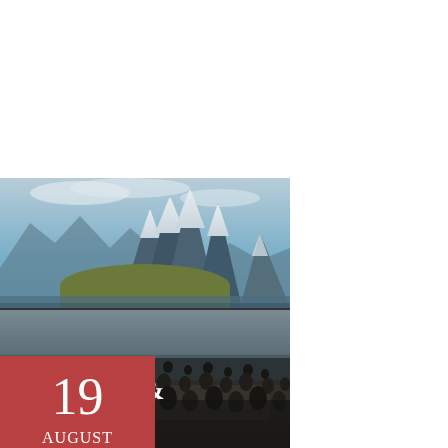[Figure (photo): Cover page with two stacked photographs: top photo shows snow-capped mountains with a green island in the foreground and blue sky; bottom photo shows a large colony of cormorant-like seabirds on rocky shoreline. A red date box overlays the upper-left corner with '19 AUGUST 2022'. A dark semi-transparent overlay at the bottom shows the title 'ALASKA & YUKON' in white serif text.]